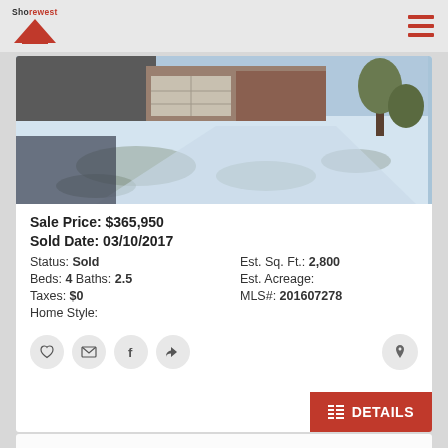Shorewest
[Figure (photo): Exterior photo of a property in winter with snow on the ground, showing a driveway and part of a house/garage in the background.]
Sale Price: $365,950
Sold Date: 03/10/2017
Status: Sold    Est. Sq. Ft.: 2,800
Beds: 4 Baths: 2.5    Est. Acreage:
Taxes: $0    MLS#: 201607278
Home Style: